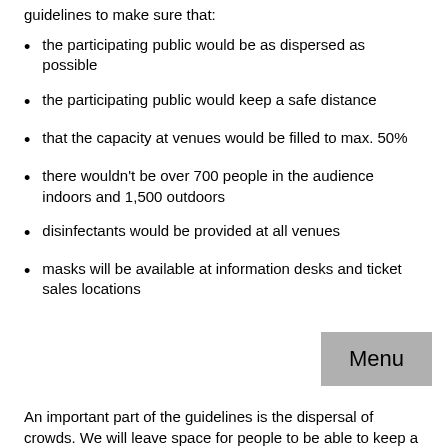guidelines to make sure that:
the participating public would be as dispersed as possible
the participating public would keep a safe distance
that the capacity at venues would be filled to max. 50%
there wouldn't be over 700 people in the audience indoors and 1,500 outdoors
disinfectants would be provided at all venues
masks will be available at information desks and ticket sales locations
An important part of the guidelines is the dispersal of crowds. We will leave space for people to be able to keep a